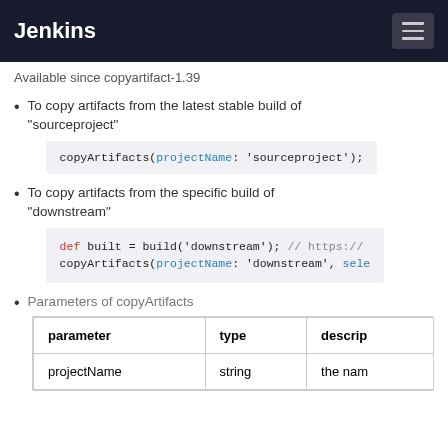Jenkins
Available since copyartifact-1.39
To copy artifacts from the latest stable build of "sourceproject"
copyArtifacts(projectName: 'sourceproject');
To copy artifacts from the specific build of "downstream"
def built = build('downstream');  // https://
copyArtifacts(projectName: 'downstream', sele
Parameters of copyArtifacts
| parameter | type | descrip |
| --- | --- | --- |
| projectName | string | the nam |